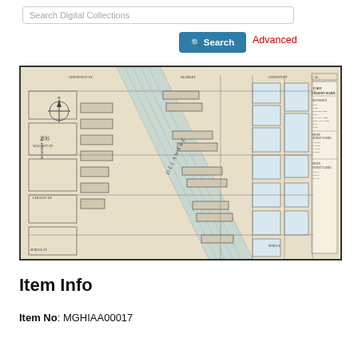Search Digital Collections
[Figure (map): Historical map of the Eighth Ward showing street grid, waterway (appears to be a river), wharves, piers, and property lots with index of streets, owners and references. Map number 14 in upper right. Compass rose in upper left area.]
Item Info
Item No: MGHIAA00017